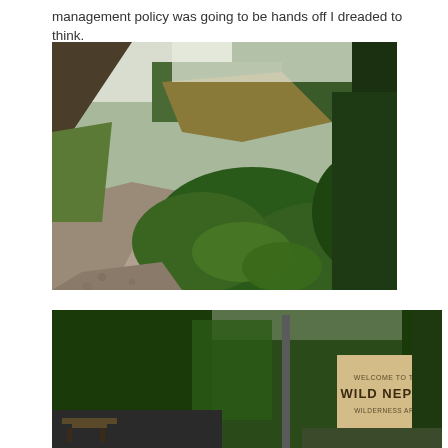management policy was going to be hands off I dreaded to think.
[Figure (photo): A gravel path winding through lush green forest and shrubs with a hillside visible in the background under an overcast sky.]
[Figure (photo): Entrance sign to the Wild Nephin Wilderness Area with wooden posts, surrounded by dense green trees and forest.]